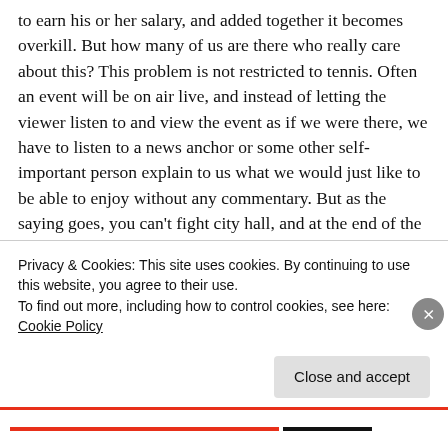to earn his or her salary, and added together it becomes overkill. But how many of us are there who really care about this? This problem is not restricted to tennis. Often an event will be on air live, and instead of letting the viewer listen to and view the event as if we were there, we have to listen to a news anchor or some other self-important person explain to us what we would just like to be able to enjoy without any commentary. But as the saying goes, you can't fight city hall, and at the end of the day, it is perhaps best if we just wean ourselves off of having to see these things in the first place. I cancelled my subscription to tennis channel and find myself watching much less tennis than before. In fact, much less television in
Privacy & Cookies: This site uses cookies. By continuing to use this website, you agree to their use.
To find out more, including how to control cookies, see here: Cookie Policy
Close and accept